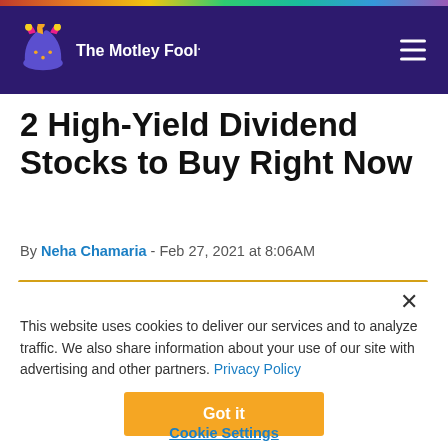The Motley Fool
2 High-Yield Dividend Stocks to Buy Right Now
By Neha Chamaria - Feb 27, 2021 at 8:06AM
This website uses cookies to deliver our services and to analyze traffic. We also share information about your use of our site with advertising and other partners. Privacy Policy
Got it
Cookie Settings